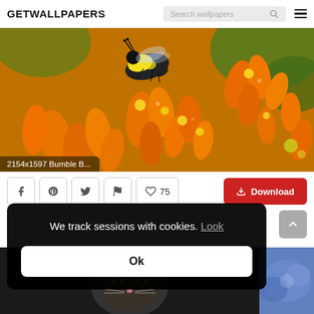GETWALLPAPERS
[Figure (photo): Close-up macro photo of a bumble bee on bright orange flowers (butterfly weed), with green background bokeh.]
2154x1597 Bumble B...
♡ 75  Download
We track sessions with cookies. Look
Ok
[Figure (photo): Bottom strip showing partial thumbnail of a cat and a blurry blue flowers image.]